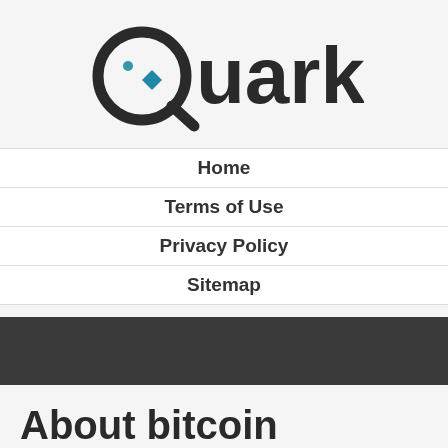[Figure (logo): Quark logo with circular Q shape with dot and teal/blue diamond accent, followed by bold sans-serif text 'Quark']
Home
Terms of Use
Privacy Policy
Sitemap
About bitcoin